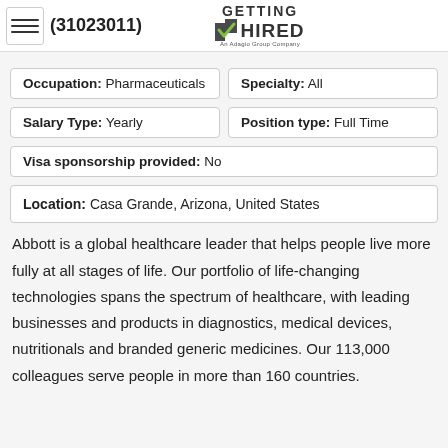(31023011) GETTING HIRED An Adagio Group Company
| Occupation: Pharmaceuticals | Specialty: All |
| Salary Type: Yearly | Position type: Full Time |
| Visa sponsorship provided: No |  |
| Location: Casa Grande, Arizona, United States |  |
Abbott is a global healthcare leader that helps people live more fully at all stages of life. Our portfolio of life-changing technologies spans the spectrum of healthcare, with leading businesses and products in diagnostics, medical devices, nutritionals and branded generic medicines. Our 113,000 colleagues serve people in more than 160 countries.